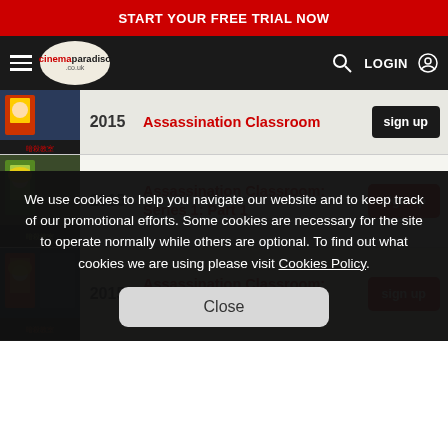START YOUR FREE TRIAL NOW
[Figure (screenshot): Cinema Paradiso navigation bar with hamburger menu, logo, search icon and LOGIN button on dark background]
2015  Assassination Classroom
2015  Assassination Classroom: Series 1: Part 1
2015  Assassination Classroom: Series 1: Part 2
We use cookies to help you navigate our website and to keep track of our promotional efforts. Some cookies are necessary for the site to operate normally while others are optional. To find out what cookies we are using please visit Cookies Policy.
Close